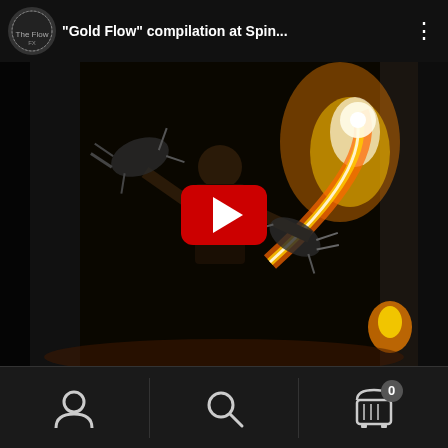[Figure (screenshot): Mobile app screenshot showing a YouTube-style video card. Header displays a circular channel logo for 'The Flow FX', video title '"Gold Flow" compilation at Spin...', and a three-dot menu icon. The thumbnail shows a fire dancer performer holding flaming fans in a dark outdoor setting, with a red YouTube play button overlay in the center. Below the video is a white progress/scroll bar. The bottom navigation bar contains three icons: a person/profile icon, a search/magnifying glass icon, and a shopping cart icon with badge showing '0', separated by vertical dividers.]